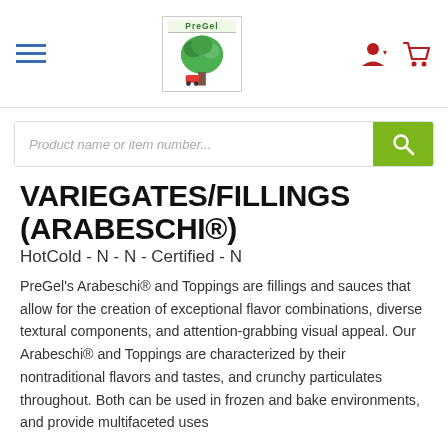PreGel navigation bar with hamburger menu, logo, user icon, and cart icon
Product name or item number...
VARIEGATES/FILLINGS (ARABESCHI®)
HotCold - N - N - Certified - N
PreGel's Arabeschi® and Toppings are fillings and sauces that allow for the creation of exceptional flavor combinations, diverse textural components, and attention-grabbing visual appeal. Our Arabeschi® and Toppings are characterized by their nontraditional flavors and tastes, and crunchy particulates throughout. Both can be used in frozen and bake environments, and provide multifaceted uses
ALL VARIEGATES, TOPPINGS & COATINGS